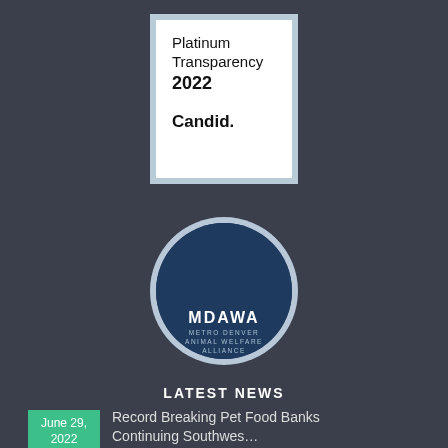[Figure (logo): Candid Platinum Transparency 2022 badge — white background with blue border, text reads 'Platinum Transparency 2022 Candid.']
[Figure (logo): MDAWA — Metro Denver Animal Welfare Alliance circular logo with animal silhouettes (rabbit, cat, dog, bird) on dark blue background]
LATEST NEWS
June 29, 2022
Record Breaking Pet Food Banks Continuing Southwes…